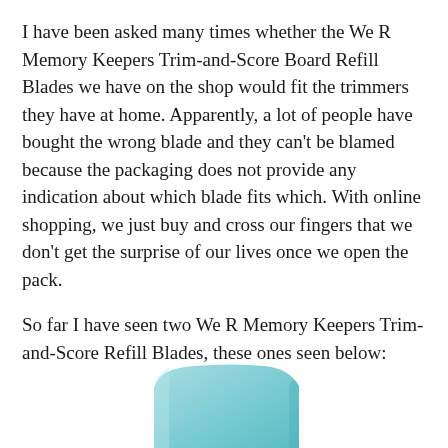I have been asked many times whether the We R Memory Keepers Trim-and-Score Board Refill Blades we have on the shop would fit the trimmers they have at home. Apparently, a lot of people have bought the wrong blade and they can't be blamed because the packaging does not provide any indication about which blade fits which. With online shopping, we just buy and cross our fingers that we don't get the surprise of our lives once we open the pack.
So far I have seen two We R Memory Keepers Trim-and-Score Refill Blades, these ones seen below:
[Figure (photo): Partial view of a light blue/teal colored We R Memory Keepers Trim-and-Score Refill Blade packaging, cropped at the bottom of the page.]